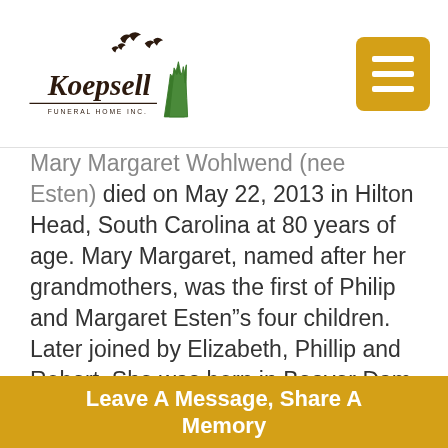[Figure (logo): Koepsell Funeral Home Inc. logo with birds and grass/reeds illustration in dark brown and green colors]
Mary Margaret Wohlwend (nee Esten) died on May 22, 2013 in Hilton Head, South Carolina at 80 years of age. Mary Margaret, named after her grandmothers, was the first of Philip and Margaret Esten’s four children. Later joined by Elizabeth, Phillip and Robert. She was born in Beaver Dam, Wisconsin on February 26, 1933. In  Continue Reading »
Leave A Message, Share A Memory